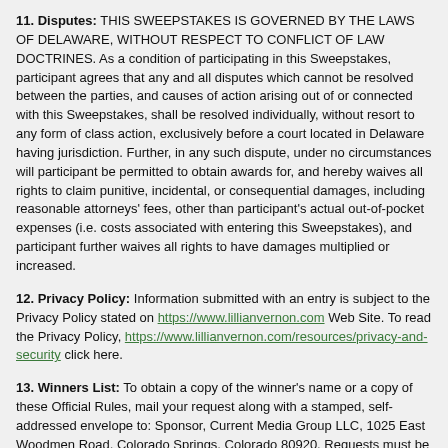11. Disputes: THIS SWEEPSTAKES IS GOVERNED BY THE LAWS OF DELAWARE, WITHOUT RESPECT TO CONFLICT OF LAW DOCTRINES. As a condition of participating in this Sweepstakes, participant agrees that any and all disputes which cannot be resolved between the parties, and causes of action arising out of or connected with this Sweepstakes, shall be resolved individually, without resort to any form of class action, exclusively before a court located in Delaware having jurisdiction. Further, in any such dispute, under no circumstances will participant be permitted to obtain awards for, and hereby waives all rights to claim punitive, incidental, or consequential damages, including reasonable attorneys' fees, other than participant's actual out-of-pocket expenses (i.e. costs associated with entering this Sweepstakes), and participant further waives all rights to have damages multiplied or increased.
12. Privacy Policy: Information submitted with an entry is subject to the Privacy Policy stated on https://www.lillianvernon.com Web Site. To read the Privacy Policy, https://www.lillianvernon.com/resources/privacy-and-security click here.
13. Winners List: To obtain a copy of the winner's name or a copy of these Official Rules, mail your request along with a stamped, self-addressed envelope to: Sponsor, Current Media Group LLC, 1025 East Woodmen Road, Colorado Springs, Colorado 80920. Requests must be received no later than June 30, 2019.
14. Sponsor: The Sponsor of the Sweepstakes is Current Media Group LLC.